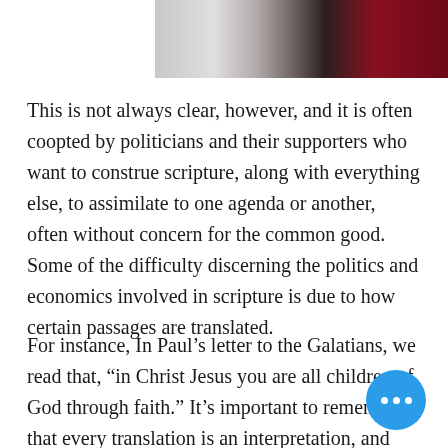[Figure (photo): Partial photo at top right showing blurred shapes in grey, dark, and deep red/maroon tones]
This is not always clear, however, and it is often coopted by politicians and their supporters who want to construe scripture, along with everything else, to assimilate to one agenda or another, often without concern for the common good. Some of the difficulty discerning the politics and economics involved in scripture is due to how certain passages are translated.
For instance, In Paul’s letter to the Galatians, we read that, “in Christ Jesus you are all children of God through faith.” It’s important to remember that every translation is an interpretation, and translators of this passage are trying to show what Paul is getting at by rendering